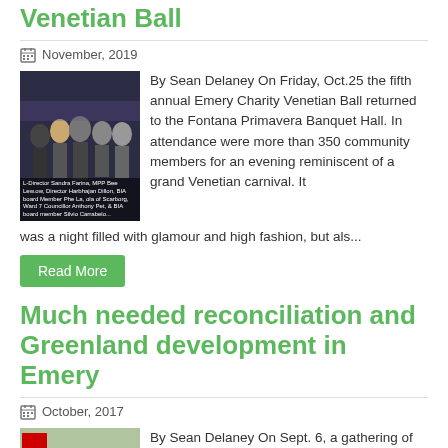Venetian Ball
November, 2019
[Figure (photo): Group photo of community members in formal attire at the Venetian Ball event]
By Sean Delaney On Friday, Oct.25 the fifth annual Emery Charity Venetian Ball returned to the Fontana Primavera Banquet Hall. In attendance were more than 350 community members for an evening reminiscent of a grand Venetian carnival. It was a night filled with glamour and high fashion, but als...
Read More
Much needed reconciliation and Greenland development in Emery
October, 2017
[Figure (photo): Group photo of community members and officials at the Etobicoke Civic Centre event]
By Sean Delaney On Sept. 6, a gathering of community members and Toronto city councillors at the Etobicoke Civic Centre